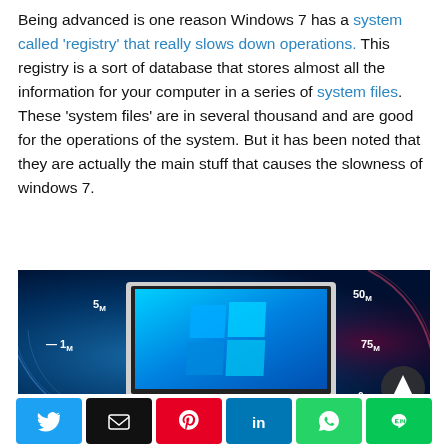Being advanced is one reason Windows 7 has a system called 'registry' that really slows down operations. This registry is a sort of database that stores almost all the information for your computer in a series of system files. These 'system files' are in several thousand and are good for the operations of the system. But it has been noted that they are actually the main stuff that causes the slowness of windows 7.
[Figure (photo): A laptop displaying the Windows 10 blue logo screen, set against a dark blue speedometer/gauge background with markings at 0M, 1M, 5M, 50M, 75M. A dark circular button with a white triangle (up arrow) is visible in the lower-right of the image.]